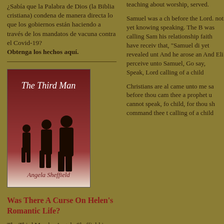¿Sabía que la Palabra de Dios (la Biblia cristiana) condena de manera directa lo que los gobiernos están haciendo a través de los mandatos de vacuna contra el Covid-19? Obtenga los hechos aquí.
[Figure (illustration): Book cover of 'The Third Man' by Angela Sheffield, showing silhouettes of three men on a dark red to white gradient background]
Was There A Curse On Helen's Romantic Life?
The Third Man by Angela Sheffield is based on
teaching about worship, served.
Samuel was a child before the Lord. not yet knowing speaking. The B was calling Sam his relationship faith have receiv that, "Samuel di yet revealed unt And he arose an And Eli perceive unto Samuel, Go say, Speak, Lor calling of a child
Christians are al came unto me sa before thou cam thee a prophet u cannot speak, fo child, for thou sh command thee t calling of a child